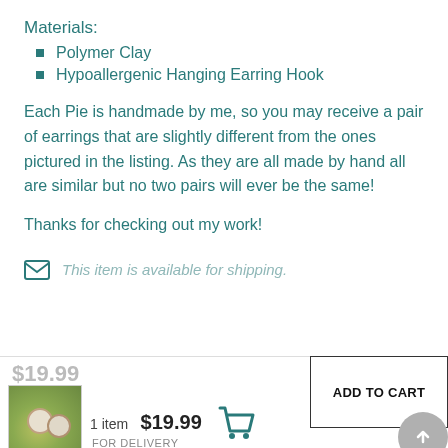Materials:
Polymer Clay
Hypoallergenic Hanging Earring Hook
Each Pie is handmade by me, so you may receive a pair of earrings that are slightly different from the ones pictured in the listing. As they are all made by hand all are similar but no two pairs will ever be the same!
Thanks for checking out my work!
This item is available for shipping.
$19.99
1 item  $19.99
FOR DELIVERY
ADD TO CART